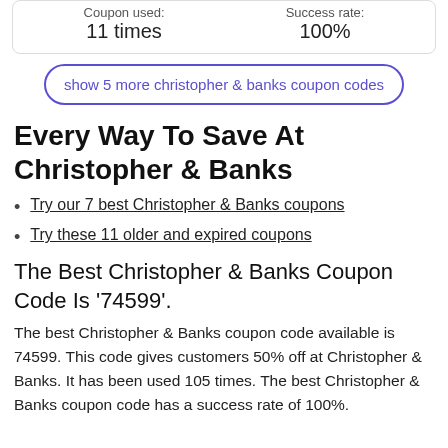| Coupon used: | Success rate: |
| --- | --- |
| 11 times | 100% |
show 5 more christopher & banks coupon codes
Every Way To Save At Christopher & Banks
Try our 7 best Christopher & Banks coupons
Try these 11 older and expired coupons
The Best Christopher & Banks Coupon Code Is '74599'.
The best Christopher & Banks coupon code available is 74599. This code gives customers 50% off at Christopher & Banks. It has been used 105 times. The best Christopher & Banks coupon code has a success rate of 100%.